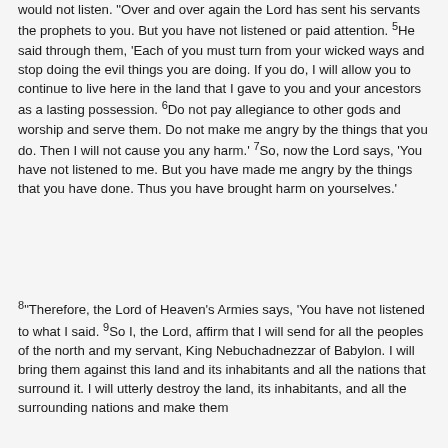would not listen. "Over and over again the Lord has sent his servants the prophets to you. But you have not listened or paid attention. 5He said through them, 'Each of you must turn from your wicked ways and stop doing the evil things you are doing. If you do, I will allow you to continue to live here in the land that I gave to you and your ancestors as a lasting possession. 6Do not pay allegiance to other gods and worship and serve them. Do not make me angry by the things that you do. Then I will not cause you any harm.' 7So, now the Lord says, 'You have not listened to me. But you have made me angry by the things that you have done. Thus you have brought harm on yourselves.'

8"Therefore, the Lord of Heaven's Armies says, 'You have not listened to what I said. 9So I, the Lord, affirm that I will send for all the peoples of the north and my servant, King Nebuchadnezzar of Babylon. I will bring them against this land and its inhabitants and all the nations that surround it. I will utterly destroy the land, its inhabitants, and all the surrounding nations and make them